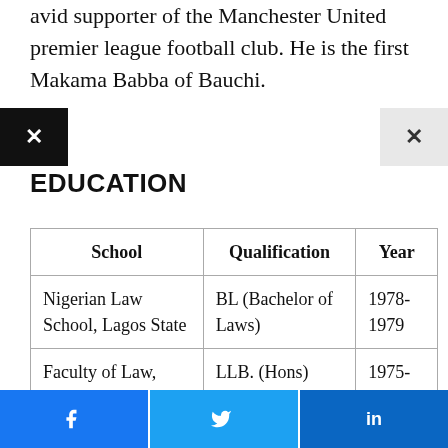avid supporter of the Manchester United premier league football club. He is the first Makama Babba of Bauchi.
EDUCATION
| School | Qualification | Year |
| --- | --- | --- |
| Nigerian Law School, Lagos State | BL (Bachelor of Laws) | 1978-1979 |
| Faculty of Law, Ahmadu Bello University, Zaria | LLB. (Hons) | 1975-1978 |